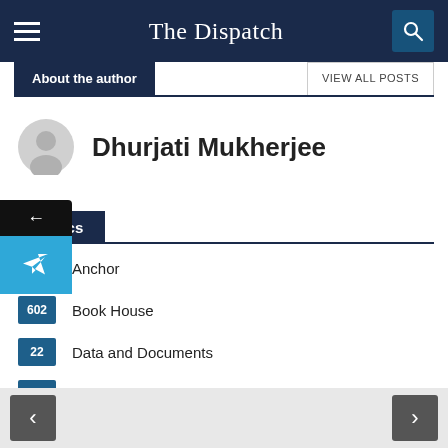The Dispatch
About the author
VIEW ALL POSTS
Dhurjati Mukherjee
Topics
1  Anchor
602  Book House
22  Data and Documents
6  Explainers & Backgrounders